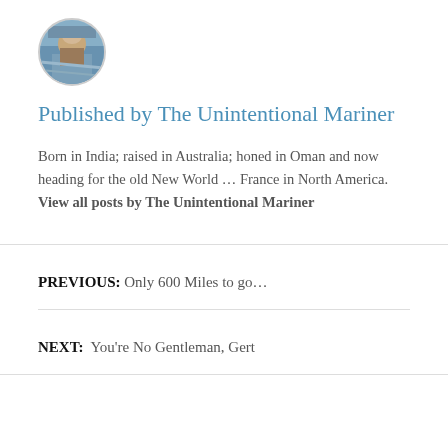[Figure (photo): Circular avatar photo of a person on a boat, with blue ocean background]
Published by The Unintentional Mariner
Born in India; raised in Australia; honed in Oman and now heading for the old New World ... France in North America. View all posts by The Unintentional Mariner
PREVIOUS: Only 600 Miles to go...
NEXT: You're No Gentleman, Gert